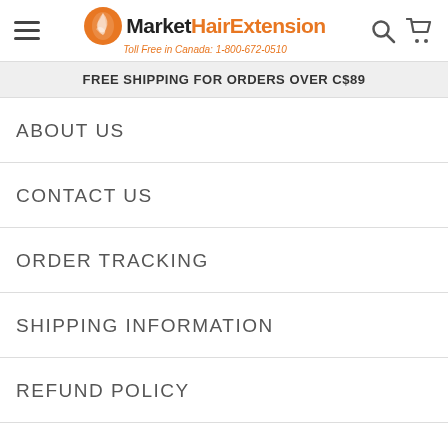MarketHairExtension - Toll Free in Canada: 1-800-672-0510
FREE SHIPPING FOR ORDERS OVER C$89
ABOUT US
CONTACT US
ORDER TRACKING
SHIPPING INFORMATION
REFUND POLICY
TERMS & CONDITIONS
PRIVACY POLICY